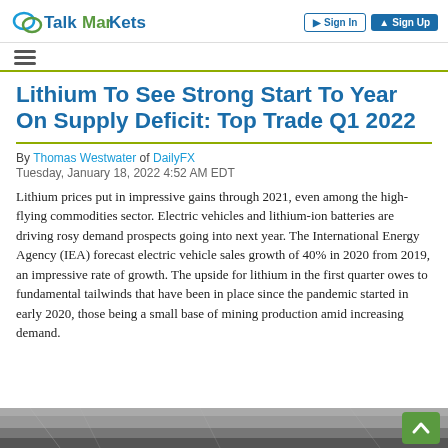TalkMarkets | Sign In | Sign Up
Lithium To See Strong Start To Year On Supply Deficit: Top Trade Q1 2022
By Thomas Westwater of DailyFX
Tuesday, January 18, 2022 4:52 AM EDT
Lithium prices put in impressive gains through 2021, even among the high-flying commodities sector. Electric vehicles and lithium-ion batteries are driving rosy demand prospects going into next year. The International Energy Agency (IEA) forecast electric vehicle sales growth of 40% in 2020 from 2019, an impressive rate of growth. The upside for lithium in the first quarter owes to fundamental tailwinds that have been in place since the pandemic started in early 2020, those being a small base of mining production amid increasing demand.
[Figure (photo): Partial black and white photo at bottom of article]